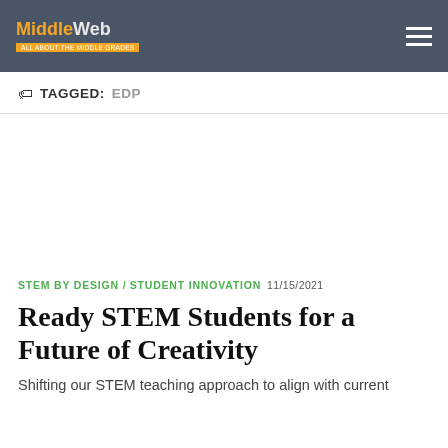MiddleWeb
TAGGED: EDP
[Figure (other): Advertisement area (blank white space)]
STEM BY DESIGN / STUDENT INNOVATION  11/15/2021
Ready STEM Students for a Future of Creativity
Shifting our STEM teaching approach to align with current